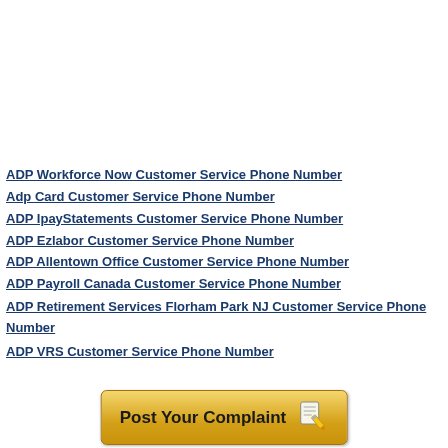ADP Workforce Now Customer Service Phone Number
Adp Card Customer Service Phone Number
ADP IpayStatements Customer Service Phone Number
ADP Ezlabor Customer Service Phone Number
ADP Allentown Office Customer Service Phone Number
ADP Payroll Canada Customer Service Phone Number
ADP Retirement Services Florham Park NJ Customer Service Phone Number
ADP VRS Customer Service Phone Number
[Figure (illustration): Golden 'Post Your Complaint' button with pencil/notepad icon]